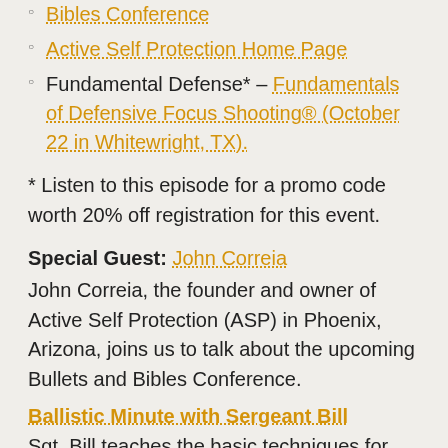Bibles Conference
Active Self Protection Home Page
Fundamental Defense* – Fundamentals of Defensive Focus Shooting® (October 22 in Whitewright, TX).
* Listen to this episode for a promo code worth 20% off registration for this event.
Special Guest: John Correia
John Correia, the founder and owner of Active Self Protection (ASP) in Phoenix, Arizona, joins us to talk about the upcoming Bullets and Bibles Conference.
Ballistic Minute with Sergeant Bill
Sgt. Bill teaches the basic techniques for using cover properly in IDPA.
Aaron Israel of Fundamental Defense